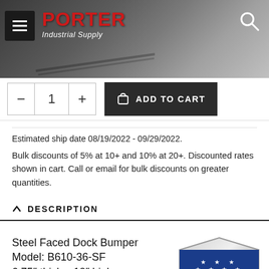[Figure (photo): Porter Industrial Supply website header with logo, hamburger menu, search icon, and background photo of dock ramps/industrial equipment]
[Figure (screenshot): Add to cart UI: quantity selector (minus, 1, plus) and dark 'ADD TO CART' button]
Estimated ship date 08/19/2022 - 09/29/2022.
Bulk discounts of 5% at 10+ and 10% at 20+. Discounted rates shown in cart. Call or email for bulk discounts on greater quantities.
DESCRIPTION
Steel Faced Dock Bumper Model: B610-36-SF
6.75″ thick x 10″ high x
[Figure (logo): Made in America shield badge with stars and stripes]